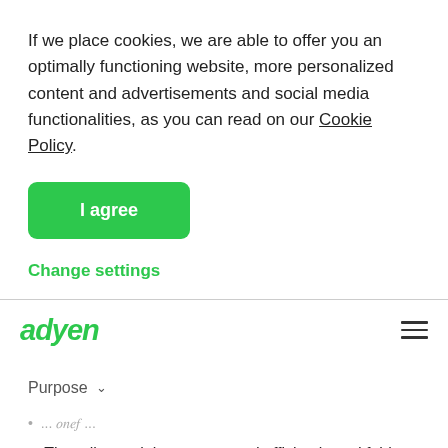If we place cookies, we are able to offer you an optimally functioning website, more personalized content and advertisements and social media functionalities, as you can read on our Cookie Policy.
[Figure (other): Green 'I agree' button]
Change settings
[Figure (logo): Adyen logo with hamburger menu icon]
Purpose ∨
...they is asked to deliver the following purposes...
That all complaints are treated efficiently and fairly and